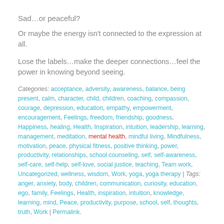Sad…or peaceful?
Or maybe the energy isn't connected to the expression at all.
Lose the labels…make the deeper connections…feel the power in knowing beyond seeing.
Categories: acceptance, adversity, awareness, balance, being present, calm, character, child, children, coaching, compassion, courage, depression, education, empathy, empowerment, encouragement, Feelings, freedom, friendship, goodness, Happiness, healing, Health, Inspiration, intuition, leadership, learning, management, meditation, mental health, mindful living, Mindfulness, motivation, peace, physical fitness, positive thinking, power, productivity, relationships, school counseling, self, self-awareness, self-care, self-help, self-love, social justice, teaching, Team work, Uncategorized, wellness, wisdom, Work, yoga, yoga therapy | Tags: anger, anxiety, body, children, communication, curiosity, education, ego, family, Feelings, Health, inspiration, intuition, knowledge, learning, mind, Peace, productivity, purpose, school, self, thoughts, truth, Work | Permalink.